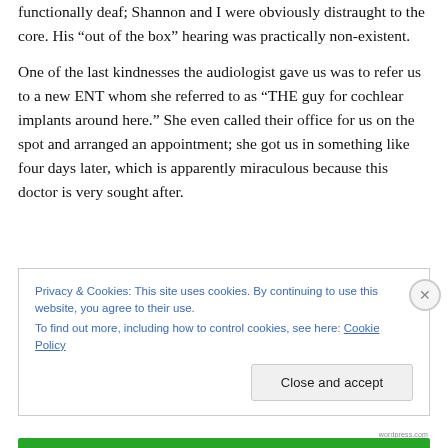functionally deaf; Shannon and I were obviously distraught to the core.  His “out of the box” hearing was practically non-existent.
One of the last kindnesses the audiologist gave us was to refer us to a new ENT whom she referred to as “THE guy for cochlear implants around here.”  She even called their office for us on the spot and arranged an appointment; she got us in something like four days later, which is apparently miraculous because this doctor is very sought after.
Privacy & Cookies: This site uses cookies. By continuing to use this website, you agree to their use.
To find out more, including how to control cookies, see here: Cookie Policy
Close and accept